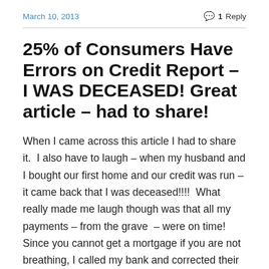March 10, 2013    1 Reply
25% of Consumers Have Errors on Credit Report – I WAS DECEASED! Great article – had to share!
When I came across this article I had to share it.  I also have to laugh – when my husband and I bought our first home and our credit was run – it came back that I was deceased!!!!  What really made me laugh though was that all my payments – from the grave  – were on time!  Since you cannot get a mortgage if you are not breathing, I called my bank and corrected their error; within a month